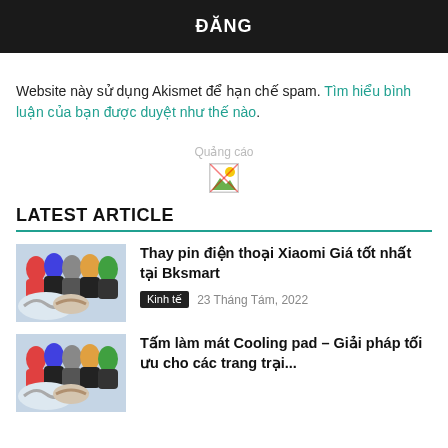ĐĂNG
Website này sử dụng Akismet để hạn chế spam. Tìm hiểu bình luận của bạn được duyệt như thế nào.
[Figure (other): Advertisement placeholder image (broken image icon) with label 'Quảng cáo']
LATEST ARTICLE
Thay pin điện thoại Xiaomi Giá tốt nhất tại Bksmart
Kinh tế  23 Tháng Tám, 2022
Tấm làm mát Cooling pad – Giải pháp tối ưu cho các trang trại...